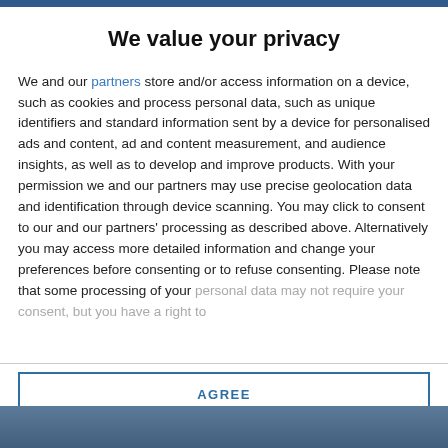We value your privacy
We and our partners store and/or access information on a device, such as cookies and process personal data, such as unique identifiers and standard information sent by a device for personalised ads and content, ad and content measurement, and audience insights, as well as to develop and improve products. With your permission we and our partners may use precise geolocation data and identification through device scanning. You may click to consent to our and our partners' processing as described above. Alternatively you may access more detailed information and change your preferences before consenting or to refuse consenting. Please note that some processing of your personal data may not require your consent, but you have a right to
AGREE
MORE OPTIONS
[Figure (photo): Photo strip at the bottom of the page showing people]